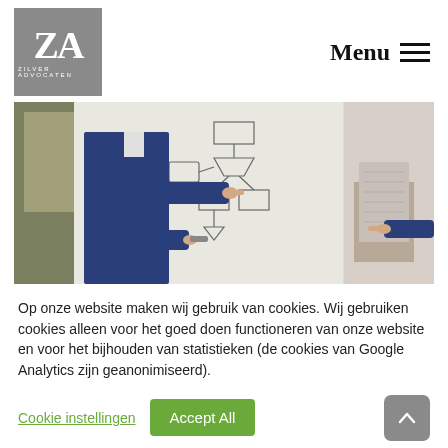[Figure (logo): Zilver Advocaten logo — grey square with white ZA letters and 'ZILVER ADVOCATEN' text below]
Menu ≡
[Figure (photo): Photo of a person in a blue suit pointing at a whiteboard with diagrams; another hand pointing from the right side]
Op onze website maken wij gebruik van cookies. Wij gebruiken cookies alleen voor het goed doen functioneren van onze website en voor het bijhouden van statistieken (de cookies van Google Analytics zijn geanonimiseerd).
Cookie instellingen
Accept All